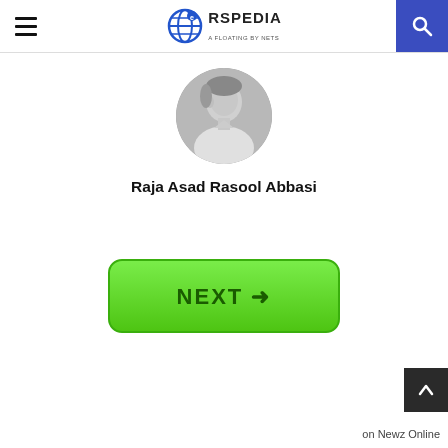RSPEDIA
[Figure (photo): Circular profile photo of a man in a white shirt, black and white image]
Raja Asad Rasool Abbasi
[Figure (infographic): Green rounded rectangle button with text NEXT and arrow pointing right]
on Newz Online